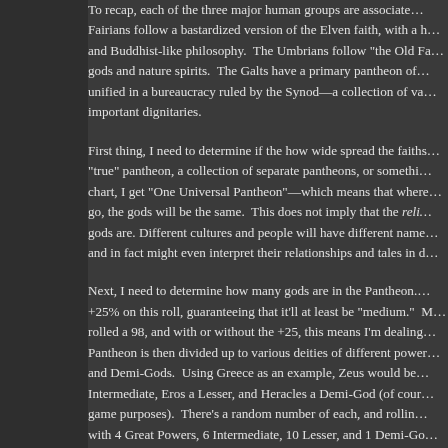To recap, each of the three major human groups are associated... Fairians follow a bastardized version of the Elven faith, with a h... and Buddhist-like philosophy. The Umbrians follow "the Old Fa... gods and nature spirits. The Galts have a primary pantheon of... unified in a bureaucracy ruled by the Synod—a collection of va... important dignitaries.
First thing, I need to determine if the how wide spread the faiths... "true" pantheon, a collection of separate pantheons, or somethi... chart, I get "One Universal Pantheon"—which means that where... go, the gods will be the same. This does not imply that the reli... gods are. Different cultures and people will have different name... and in fact might even interpret their relationships and tales in d...
Next, I need to determine how many gods are in the Pantheon.... +25% on this roll, guaranteeing that it'll at least be "medium." M... rolled a 98, and with or without the +25, this means I'm dealing... Pantheon is then divided up to various deities of different power... and Demi-Gods. Using Greece as an example, Zeus would be... Intermediate, Eros a Lesser, and Heracles a Demi-God (of cour... game purposes). There's a random number of each, and rolling... with 4 Great Powers, 6 Intermediate, 10 Lesser, and 1 Demi-Go... That 1 Demi-God certainly stands out, and my first thought was... random unusual rolls have at least provided me with something... now.